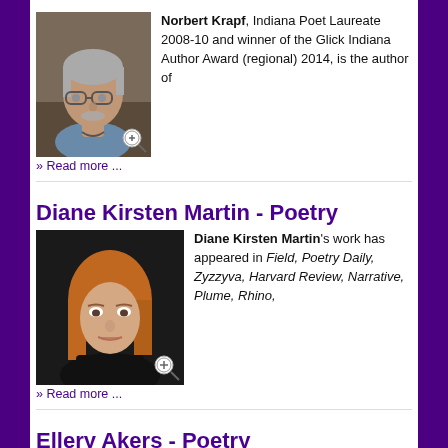[Figure (photo): Photo of Norbert Krapf, older man with gray hair and glasses]
Norbert Krapf, Indiana Poet Laureate 2008-10 and winner of the Glick Indiana Author Award (regional) 2014, is the author of
» Read more ...
Diane Kirsten Martin - Poetry
[Figure (photo): Photo of Diane Kirsten Martin, woman with reddish-brown hair on dark background]
Diane Kirsten Martin's work has appeared in Field, Poetry Daily, Zyzzyva, Harvard Review, Narrative, Plume, Rhino,
» Read more ...
Ellery Akers - Poetry
[Figure (photo): Partial photo of Ellery Akers]
Ellery Akers' new book of poems, Practicing